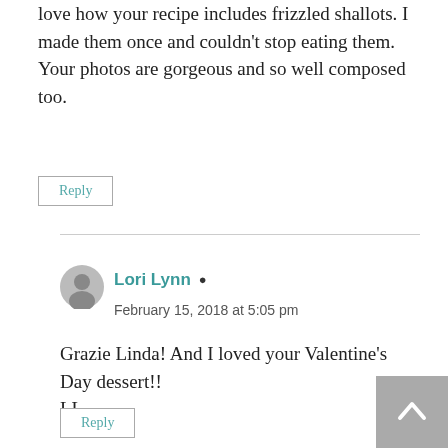love how your recipe includes frizzled shallots. I made them once and couldn't stop eating them. Your photos are gorgeous and so well composed too.
Reply
Lori Lynn ▲
February 15, 2018 at 5:05 pm
Grazie Linda! And I loved your Valentine's Day dessert!!
LL
Reply